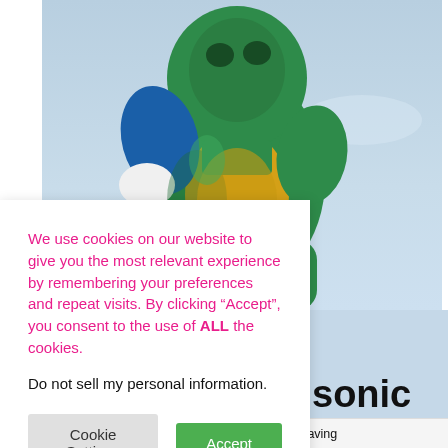[Figure (photo): A person wearing a green, blue, and yellow animal/mascot costume, photographed from below against a light blue sky background.]
We use cookies on our website to give you the most relevant experience by remembering your preferences and repeat visits. By clicking “Accept”, you consent to the use of ALL the cookies.
Do not sell my personal information.
sonic
Our buddy Matty was back in Australia with his raving